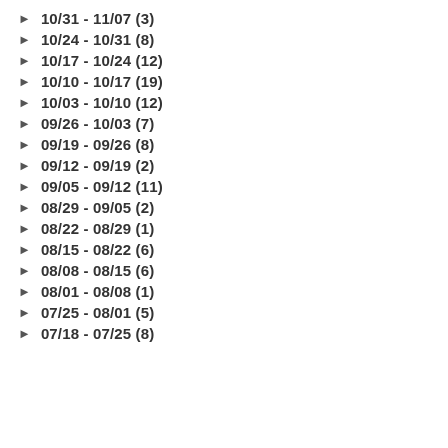10/31 - 11/07 (3)
10/24 - 10/31 (8)
10/17 - 10/24 (12)
10/10 - 10/17 (19)
10/03 - 10/10 (12)
09/26 - 10/03 (7)
09/19 - 09/26 (8)
09/12 - 09/19 (2)
09/05 - 09/12 (11)
08/29 - 09/05 (2)
08/22 - 08/29 (1)
08/15 - 08/22 (6)
08/08 - 08/15 (6)
08/01 - 08/08 (1)
07/25 - 08/01 (5)
07/18 - 07/25 (8)